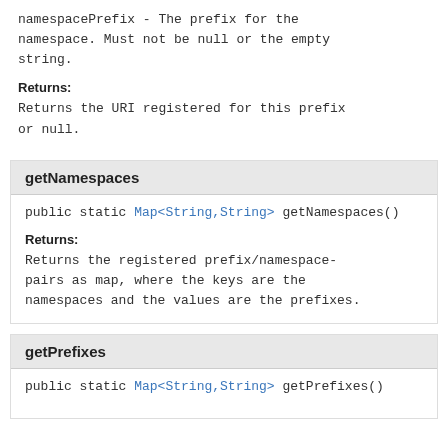namespacePrefix - The prefix for the namespace. Must not be null or the empty string.
Returns:
Returns the URI registered for this prefix or null.
getNamespaces
public static Map<String,String> getNamespaces()
Returns:
Returns the registered prefix/namespace-pairs as map, where the keys are the namespaces and the values are the prefixes.
getPrefixes
public static Map<String,String> getPrefixes()